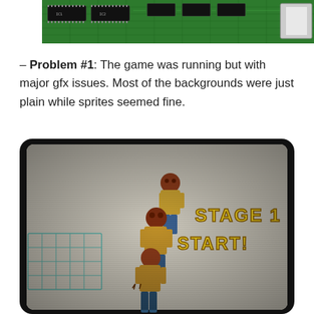[Figure (photo): Top portion of a green circuit board/PCB with chips and connectors visible]
– Problem #1: The game was running but with major gfx issues. Most of the backgrounds were just plain while sprites seemed fine.
[Figure (screenshot): CRT monitor screenshot showing a video game (appears to be a beat-em-up) with plain/white background and sprites of zombie-like characters visible. Text reads STAGE 1 START!]